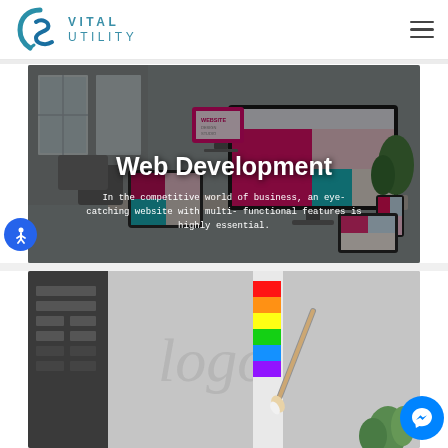[Figure (logo): Vital Utility logo with blue swirl S icon and text VITAL UTILITY in teal/blue uppercase letters]
[Figure (screenshot): Web Development hero section showing a desktop computer on a desk with colorful website design on screen, dark overlay with white text overlay]
Web Development
In the competitive world of business, an eye-catching website with multi- functional features is highly essential.
[Figure (screenshot): Design section showing a design workspace with 'logo' watermark text, paint brush, color swatches, partially visible section]